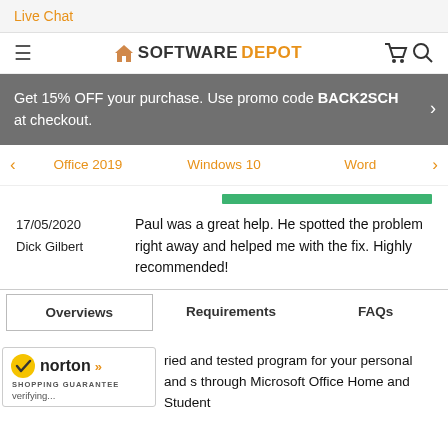Live Chat
[Figure (logo): SoftwareDepot logo with house icon, hamburger menu, cart and search icons]
Get 15% OFF your purchase. Use promo code BACK2SCH at checkout.
Office 2019
Windows 10
Word
17/05/2020
Dick Gilbert
Paul was a great help. He spotted the problem right away and helped me with the fix. Highly recommended!
Overviews    Requirements    FAQs
[Figure (logo): Norton Shopping Guarantee badge with checkmark]
ried and tested program for your personal and s through Microsoft Office Home and Student